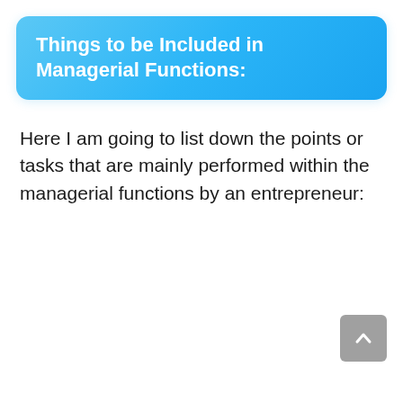Things to be Included in Managerial Functions:
Here I am going to list down the points or tasks that are mainly performed within the managerial functions by an entrepreneur: